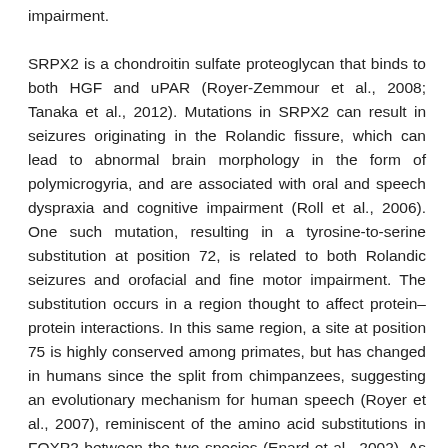impairment. SRPX2 is a chondroitin sulfate proteoglycan that binds to both HGF and uPAR (Royer-Zemmour et al., 2008; Tanaka et al., 2012). Mutations in SRPX2 can result in seizures originating in the Rolandic fissure, which can lead to abnormal brain morphology in the form of polymicrogyria, and are associated with oral and speech dyspraxia and cognitive impairment (Roll et al., 2006). One such mutation, resulting in a tyrosine-to-serine substitution at position 72, is related to both Rolandic seizures and orofacial and fine motor impairment. The substitution occurs in a region thought to affect protein–protein interactions. In this same region, a site at position 75 is highly conserved among primates, but has changed in humans since the split from chimpanzees, suggesting an evolutionary mechanism for human speech (Royer et al., 2007), reminiscent of the amino acid substitutions in FOXP2 between the two species (Enard et al., 2002). As mentioned previously, new evidence has emerged for the role of SPRX2 in mouse vocalizations (Sia, Clem, & Huganir, 2013). Other chondroitin sulfate proteoglycans are involved in formation of perineuronal